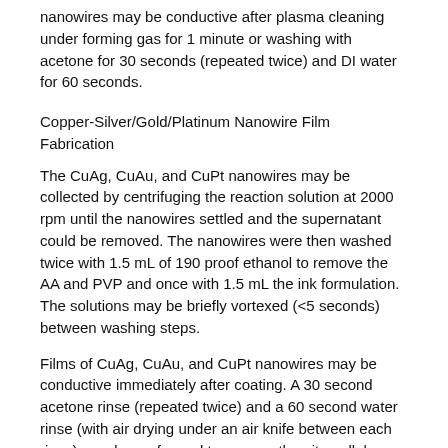nanowires may be conductive after plasma cleaning under forming gas for 1 minute or washing with acetone for 30 seconds (repeated twice) and DI water for 60 seconds.
Copper-Silver/Gold/Platinum Nanowire Film Fabrication
The CuAg, CuAu, and CuPt nanowires may be collected by centrifuging the reaction solution at 2000 rpm until the nanowires settled and the supernatant could be removed. The nanowires were then washed twice with 1.5 mL of 190 proof ethanol to remove the AA and PVP and once with 1.5 mL the ink formulation. The solutions may be briefly vortexed (<5 seconds) between washing steps.
Films of CuAg, CuAu, and CuPt nanowires may be conductive immediately after coating. A 30 second acetone rinse (repeated twice) and a 60 second water rinse (with air drying under an air knife between each rinse) may be performed to remove the nitrocellulose and any remaining PVP and decrease the sheet resistance of the films.
Oxidation Resistance Studies
Dry oven sheet resistance (R□) measurements may be